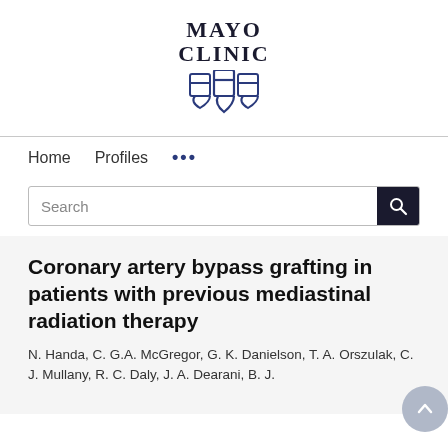[Figure (logo): Mayo Clinic logo with text 'MAYO CLINIC' and three shield emblems in dark navy/blue color]
Home   Profiles   ...
Search
Coronary artery bypass grafting in patients with previous mediastinal radiation therapy
N. Handa, C. G.A. McGregor, G. K. Danielson, T. A. Orszulak, C. J. Mullany, R. C. Daly, J. A. Dearani, B. J.